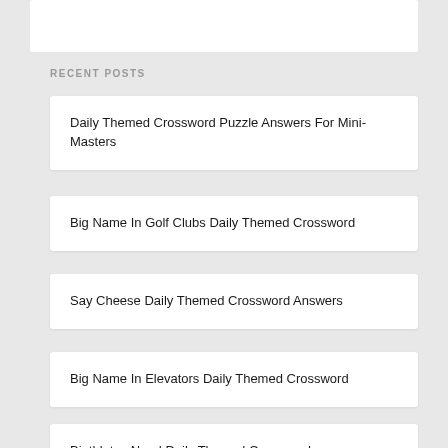RECENT POSTS
Daily Themed Crossword Puzzle Answers For Mini-Masters
Big Name In Golf Clubs Daily Themed Crossword
Say Cheese Daily Themed Crossword Answers
Big Name In Elevators Daily Themed Crossword
Biathletes Need Daily Themed Crossword